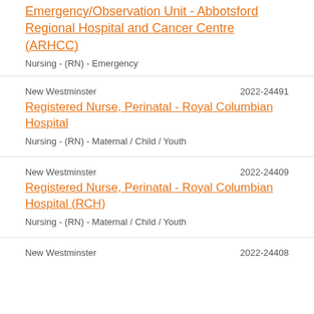Emergency/Observation Unit - Abbotsford Regional Hospital and Cancer Centre (ARHCC)
Nursing - (RN) - Emergency
New Westminster
2022-24491
Registered Nurse, Perinatal - Royal Columbian Hospital
Nursing - (RN) - Maternal / Child / Youth
New Westminster
2022-24409
Registered Nurse, Perinatal - Royal Columbian Hospital (RCH)
Nursing - (RN) - Maternal / Child / Youth
New Westminster
2022-24408